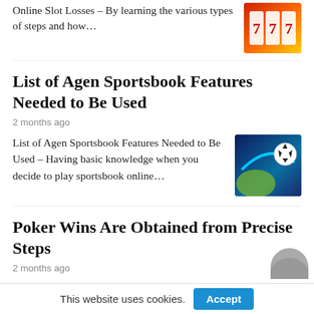Online Slot Losses – By learning the various types of steps and how…
List of Agen Sportsbook Features Needed to Be Used
2 months ago
List of Agen Sportsbook Features Needed to Be Used – Having basic knowledge when you decide to play sportsbook online…
Poker Wins Are Obtained from Precise Steps
2 months ago
This website uses cookies.
Accept